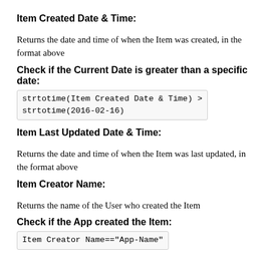Item Created Date & Time:
Returns the date and time of when the Item was created, in the format above
Check if the Current Date is greater than a specific date:
Item Last Updated Date & Time:
Returns the date and time of when the Item was last updated, in the format above
Item Creator Name:
Returns the name of the User who created the Item
Check if the App created the Item: